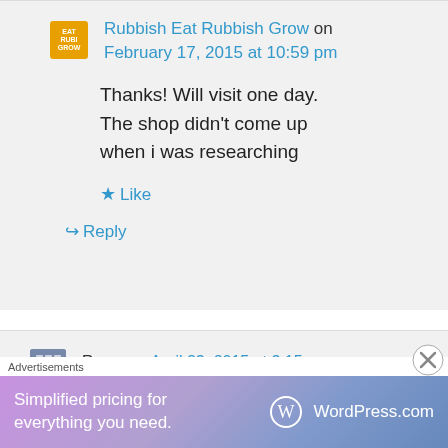Rubbish Eat Rubbish Grow on February 17, 2015 at 10:59 pm
Thanks! Will visit one day. The shop didn't come up when i was researching
Like
Reply
Razor on April 23, 2015 at 3:15 pm
Advertisements
Simplified pricing for everything you need. WordPress.com